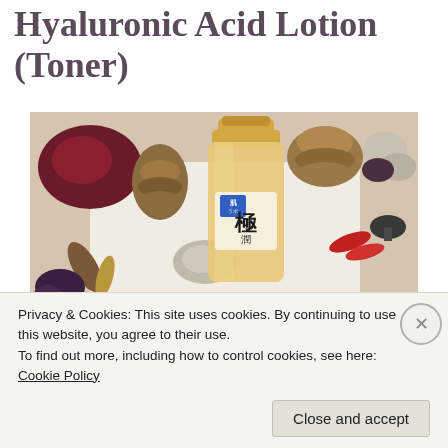Hyaluronic Acid Lotion (Toner)
[Figure (photo): A bottle of Hada Labo (肌ラボ) Hyaluronic Acid Lotion/Toner with a gold cap, surrounded by natural botanicals including dried rose petals, pine cones, mushrooms, dried flowers, a red petal, and stones on a white background.]
Privacy & Cookies: This site uses cookies. By continuing to use this website, you agree to their use.
To find out more, including how to control cookies, see here: Cookie Policy
Close and accept